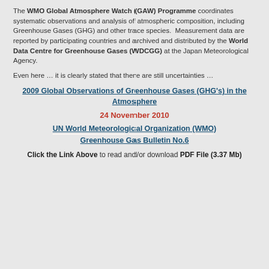The WMO Global Atmosphere Watch (GAW) Programme coordinates systematic observations and analysis of atmospheric composition, including Greenhouse Gases (GHG) and other trace species. Measurement data are reported by participating countries and archived and distributed by the World Data Centre for Greenhouse Gases (WDCGG) at the Japan Meteorological Agency.
Even here ... it is clearly stated that there are still uncertainties ...
2009 Global Observations of Greenhouse Gases (GHG's) in the Atmosphere
24 November 2010
UN World Meteorological Organization (WMO) Greenhouse Gas Bulletin No.6
Click the Link Above to read and/or download PDF File (3.37 Mb)